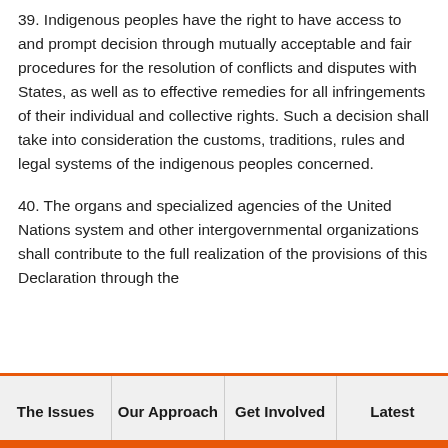39. Indigenous peoples have the right to have access to and prompt decision through mutually acceptable and fair procedures for the resolution of conflicts and disputes with States, as well as to effective remedies for all infringements of their individual and collective rights. Such a decision shall take into consideration the customs, traditions, rules and legal systems of the indigenous peoples concerned.
40. The organs and specialized agencies of the United Nations system and other intergovernmental organizations shall contribute to the full realization of the provisions of this Declaration through the mobilization, inter alia, of financial cooperation and...
The Issues | Our Approach | Get Involved | Latest